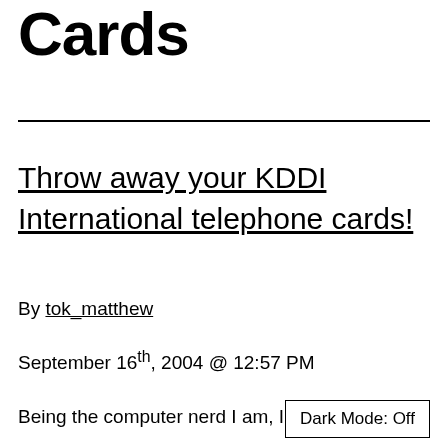Cards
Throw away your KDDI International telephone cards!
By tok_matthew
September 16th, 2004 @ 12:57 PM
Being the computer nerd I am, I'm